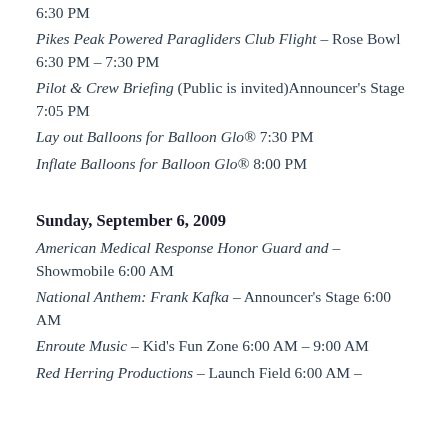6:30 PM
Pikes Peak Powered Paragliders Club Flight – Rose Bowl 6:30 PM – 7:30 PM
Pilot & Crew Briefing (Public is invited)Announcer's Stage 7:05 PM
Lay out Balloons for Balloon Glo® 7:30 PM
Inflate Balloons for Balloon Glo® 8:00 PM
Sunday, September 6, 2009
American Medical Response Honor Guard and – Showmobile 6:00 AM
National Anthem: Frank Kafka – Announcer's Stage 6:00 AM
Enroute Music – Kid's Fun Zone 6:00 AM – 9:00 AM
Red Herring Productions – Launch Field 6:00 AM –